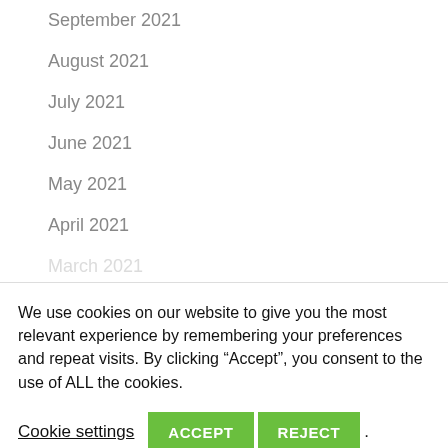September 2021
August 2021
July 2021
June 2021
May 2021
April 2021
March 2021
We use cookies on our website to give you the most relevant experience by remembering your preferences and repeat visits. By clicking “Accept”, you consent to the use of ALL the cookies.
Cookie settings  ACCEPT  REJECT  .